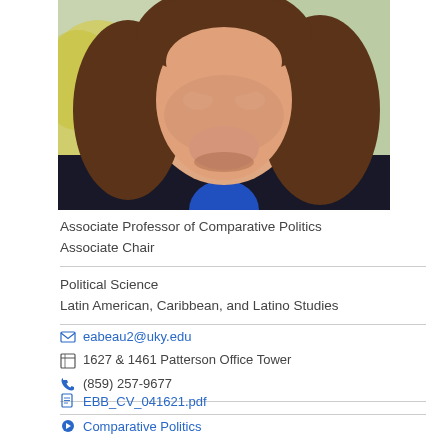[Figure (photo): Headshot photo of a woman with brown hair, wearing a dark jacket and blue shirt, photographed outdoors with a blurred yellow-green background.]
Associate Professor of Comparative Politics
Associate Chair
Political Science
Latin American, Caribbean, and Latino Studies
eabeau2@uky.edu
1627 & 1461 Patterson Office Tower
(859) 257-9677
EBB_CV_041621.pdf
Comparative Politics